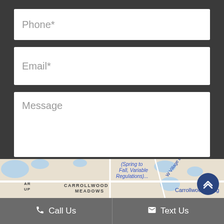Phone*
Email*
Message
SUBMIT
[Figure (map): Google Maps partial view showing Carrollwood Meadows area with text '(Spring to Fall, Variable Regulations)...', 'W Village Dr', 'Carrollwood Village', and 'CARROLLWOOD MEADOWS']
Call Us
Text Us